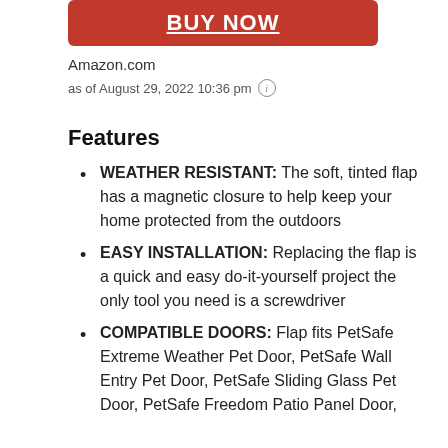[Figure (other): Red BUY NOW button]
Amazon.com
as of August 29, 2022 10:36 pm ⓘ
Features
WEATHER RESISTANT: The soft, tinted flap has a magnetic closure to help keep your home protected from the outdoors
EASY INSTALLATION: Replacing the flap is a quick and easy do-it-yourself project the only tool you need is a screwdriver
COMPATIBLE DOORS: Flap fits PetSafe Extreme Weather Pet Door, PetSafe Wall Entry Pet Door, PetSafe Sliding Glass Pet Door, PetSafe Freedom Patio Panel Door, PetSafe Freedom Aluminum Pet Door,